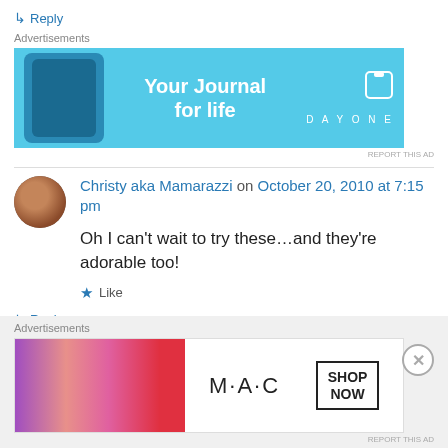↳ Reply
[Figure (illustration): Advertisement banner for DayOne journal app with light blue background, phone graphic, text 'Your Journal for life', and DayOne logo]
Christy aka Mamarazzi on October 20, 2010 at 7:15 pm
Oh I can't wait to try these…and they're adorable too!
★ Like
↳ Reply
[Figure (illustration): Advertisement banner for MAC cosmetics with lipsticks image and 'SHOP NOW' button]